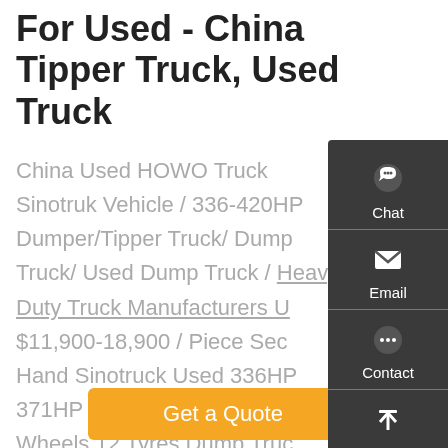For Used - China Tipper Truck, Used Truck
China Used HOWO Truck Sinotruk Vehicle / 336-420HP Dumper/Tipper Truck/ Dump Truck/ Used Dump Truck / Heavy-Duty Truck Manufacturers US $11,900-18,900 / Piece Second Hand Sinotruck Used 336HP 371HP 375HP HOWO 10 Wheels 12 Tyres Dump Truck Tipper Truck 8X4 6X4 …
[Figure (other): Side panel with Chat, Email, Contact, and Top navigation icons on dark background]